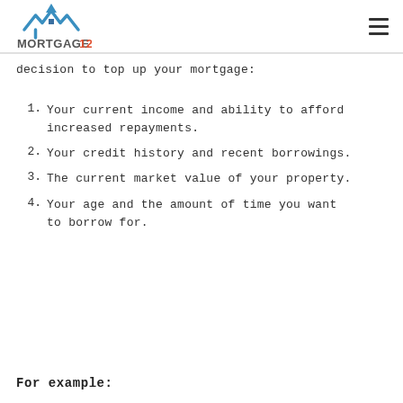MORTGAGE123
decision to top up your mortgage:
Your current income and ability to afford increased repayments.
Your credit history and recent borrowings.
The current market value of your property.
Your age and the amount of time you want to borrow for.
For example: